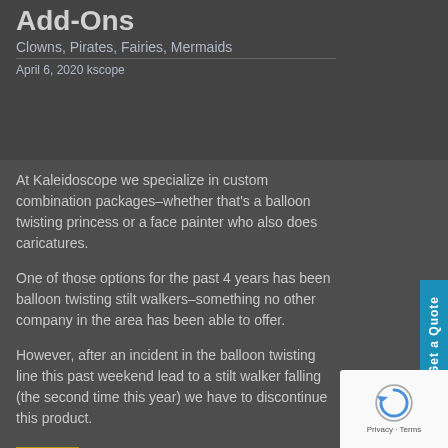Add-Ons
Clowns, Pirates, Fairies, Mermaids
April 6, 2020 kscope
At Kaleidoscope we specialize in custom combination packages– whether that's a balloon twisting princess or a face painter who also does caricatures.
One of those options for the past 4 years has been balloon twisting stilt walkers–something no other company in the area has been able to offer.
However, after an incident in the balloon twisting line this past weekend lead to a stilt walker falling (the second time this year) we have to discontinue this product.
(more…)